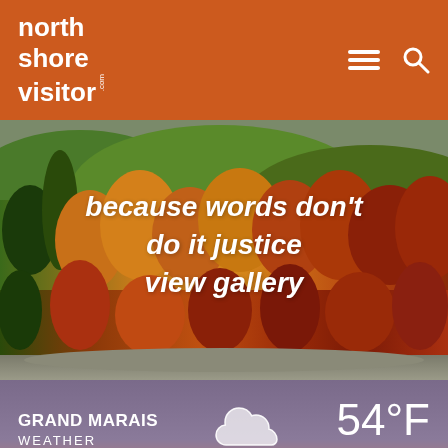north shore visitor .com
[Figure (photo): Autumn foliage landscape showing colorful fall trees (orange, red, yellow, green) on hillsides with text overlay saying 'because words don't do it justice view gallery']
because words don't do it justice view gallery
[Figure (infographic): Weather widget showing Grand Marais Weather, 54°F scattered clouds, with cloud icon and forecast days Fri, Sat, Sun, Mon, Tue, Wed]
GRAND MARAIS WEATHER 54°F scattered clouds
Fri
Sat
Sun
Mon
Tue
Wed